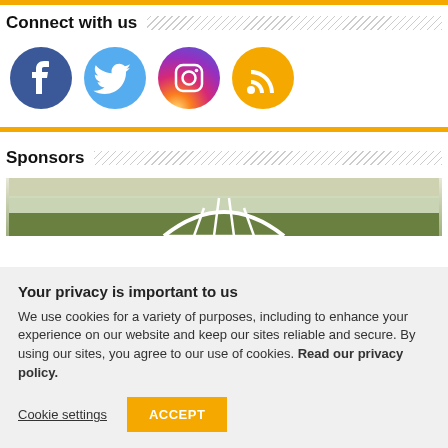Connect with us
[Figure (illustration): Four social media icons in circles: Facebook (dark blue), Twitter (light blue), Instagram (purple/orange gradient), RSS feed (orange)]
Sponsors
[Figure (photo): Aerial/landscape photo with a white arch bridge structure visible against green fields and sky]
Your privacy is important to us
We use cookies for a variety of purposes, including to enhance your experience on our website and keep our sites reliable and secure. By using our sites, you agree to our use of cookies. Read our privacy policy.
Cookie settings | ACCEPT